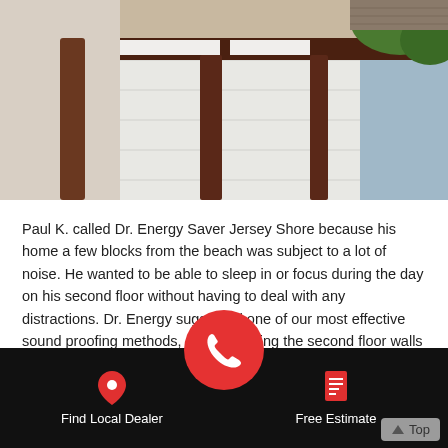[Figure (photo): Photo of a house exterior showing dark brown gutters and downspout against white siding, with trees visible in the upper right corner.]
Paul K. called Dr. Energy Saver Jersey Shore because his home a few blocks from the beach was subject to a lot of noise. He wanted to be able to sleep in or focus during the day on his second floor without having to deal with any distractions. Dr. Energy suggested one of our most effective sound proofing methods, dense packing the second floor walls with cellulose. After a summer with the treatment, Paul was happy to report to Dr. Energy that he could see a noticeable decrease in noise between 25-30%
Find Local Dealer | [Phone] | Free Estimate